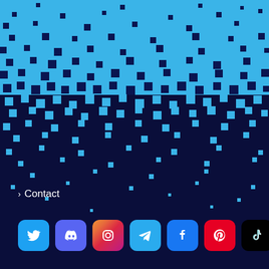[Figure (illustration): Pixel dissolution/halftone effect: sky blue small squares dissolving downward into a dark navy blue background, creating a transition from bright blue at the top to dark blue at the bottom]
› Contact
[Figure (infographic): Row of 7 social media app icons: Twitter (blue bird), Discord (purple controller face), Instagram (gradient camera), Telegram (blue paper plane), Facebook (blue f), Pinterest (red P), TikTok (black music note)]